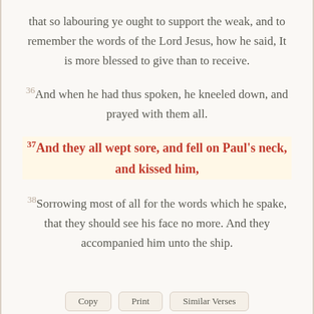that so labouring ye ought to support the weak, and to remember the words of the Lord Jesus, how he said, It is more blessed to give than to receive. 36And when he had thus spoken, he kneeled down, and prayed with them all. 37And they all wept sore, and fell on Paul's neck, and kissed him, 38Sorrowing most of all for the words which he spake, that they should see his face no more. And they accompanied him unto the ship.
Copy | Print | Similar Verses